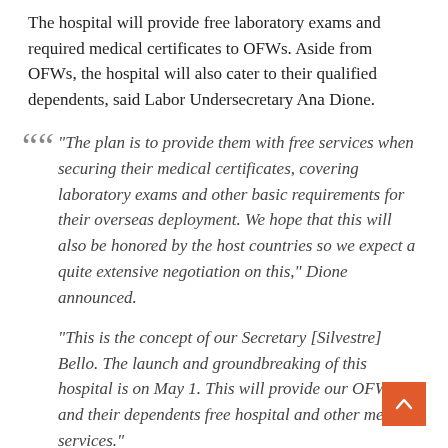The hospital will provide free laboratory exams and required medical certificates to OFWs. Aside from OFWs, the hospital will also cater to their qualified dependents, said Labor Undersecretary Ana Dione.
“The plan is to provide them with free services when securing their medical certificates, covering laboratory exams and other basic requirements for their overseas deployment. We hope that this will also be honored by the host countries so we expect a quite extensive negotiation on this,” Dione announced.
“This is the concept of our Secretary [Silvestre] Bello. The launch and groundbreaking of this hospital is on May 1. This will provide our OFWs and their dependents free hospital and other medical services.”
Once the documents, plans, and legalities are processed,